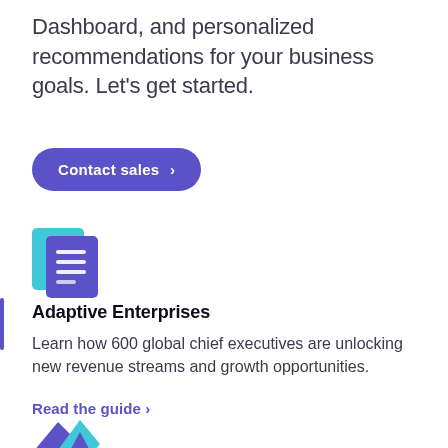Dashboard, and personalized recommendations for your business goals. Let's get started.
[Figure (other): Purple rounded button with text 'Contact sales >']
[Figure (illustration): Document/pages icon in teal and blue colors]
Adaptive Enterprises
Learn how 600 global chief executives are unlocking new revenue streams and growth opportunities.
Read the guide >
[Figure (illustration): Mountain/chart icon in teal and purple colors]